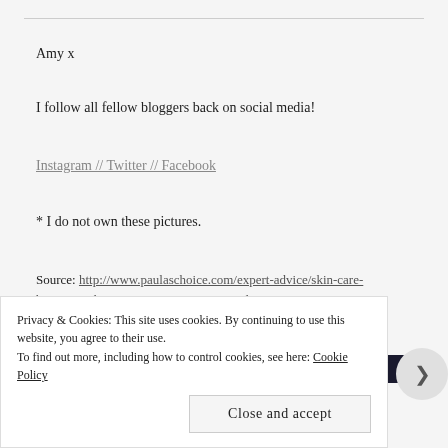Amy x
I follow all fellow bloggers back on social media!
Instagram // Twitter // Facebook
* I do not own these pictures.
Source: http://www.paulaschoice.com/expert-advice/skin-care-basics/_/When-to-Toss-Out-Beauty-Products
Advertisements
Privacy & Cookies: This site uses cookies. By continuing to use this website, you agree to their use.
To find out more, including how to control cookies, see here: Cookie Policy
Close and accept